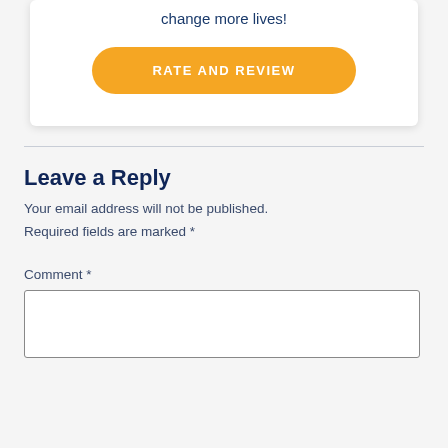change more lives!
[Figure (other): Orange rounded button with white uppercase text: RATE AND REVIEW]
Leave a Reply
Your email address will not be published. Required fields are marked *
Comment *
[Figure (other): Empty comment text input box]